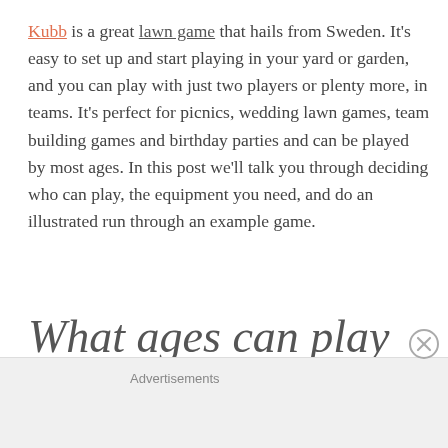Kubb is a great lawn game that hails from Sweden. It's easy to set up and start playing in your yard or garden, and you can play with just two players or plenty more, in teams. It's perfect for picnics, wedding lawn games, team building games and birthday parties and can be played by most ages. In this post we'll talk you through deciding who can play, the equipment you need, and do an illustrated run through an example game.
What ages can play Kubb?
Advertisements